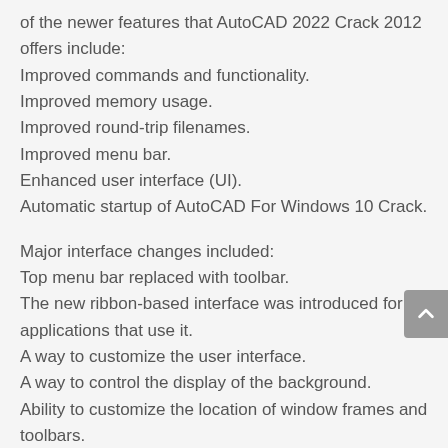of the newer features that AutoCAD 2022 Crack 2012 offers include:
Improved commands and functionality.
Improved memory usage.
Improved round-trip filenames.
Improved menu bar.
Enhanced user interface (UI).
Automatic startup of AutoCAD For Windows 10 Crack.
Major interface changes included:
Top menu bar replaced with toolbar.
The new ribbon-based interface was introduced for applications that use it.
A way to customize the user interface.
A way to control the display of the background.
Ability to customize the location of window frames and toolbars.
New command line scripting language AutoLisp.